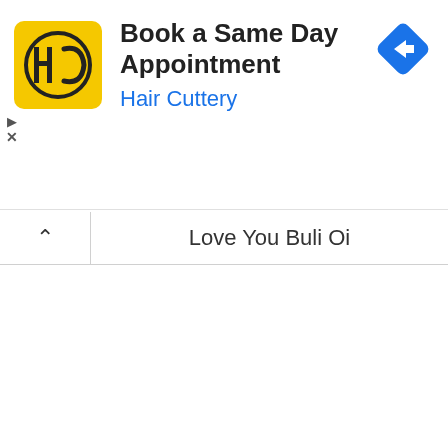[Figure (screenshot): Advertisement banner for Hair Cuttery with yellow logo, title 'Book a Same Day Appointment', brand name 'Hair Cuttery' in blue, a blue navigation/directions diamond icon on the right, and ad control icons (play and close X) on the left side.]
Love You Buli Oi